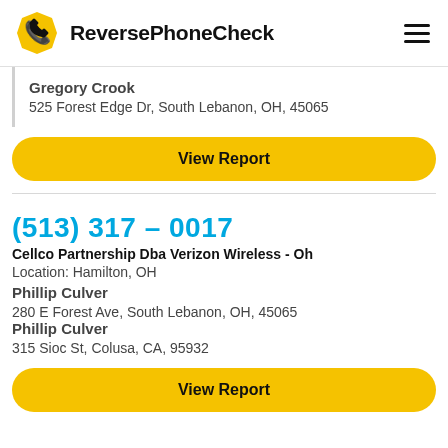ReversePhoneCheck
Gregory Crook
525 Forest Edge Dr, South Lebanon, OH, 45065
View Report
(513) 317 – 0017
Cellco Partnership Dba Verizon Wireless - Oh
Location: Hamilton, OH
Phillip Culver
280 E Forest Ave, South Lebanon, OH, 45065
Phillip Culver
315 Sioc St, Colusa, CA, 95932
View Report